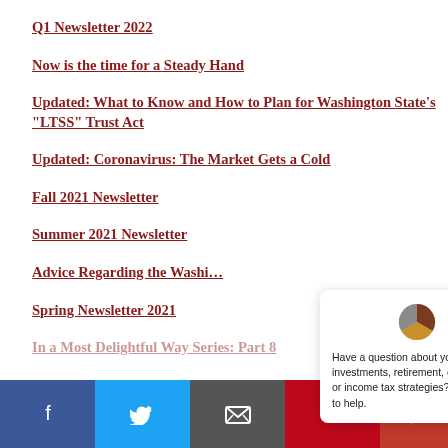Q1 Newsletter 2022
Now is the time for a Steady Hand
Updated: What to Know and How to Plan for Washington State's “LTSS” Trust Act
Updated: Coronavirus: The Market Gets a Cold
Fall 2021 Newsletter
Summer 2021 Newsletter
Advice Regarding the Washi…
Spring Newsletter 2021
In a Most Delightful Way Series: Part 8
[Figure (other): Chat popup widget with pie chart logo and text: Have a question about your investments, retirement, estate plan, or income tax strategies? I'm happy to help.]
[Figure (other): Social media share bar with Facebook, Twitter, Email, Pinterest, and chat buttons]